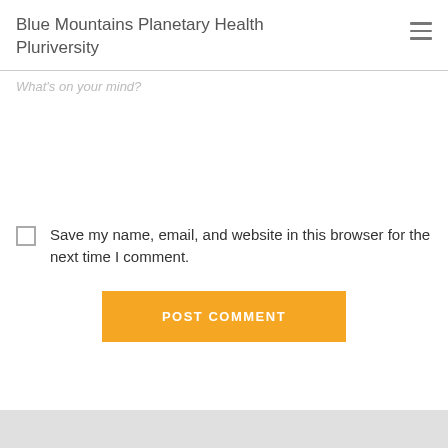Blue Mountains Planetary Health Pluriversity
What's on your mind?
Save my name, email, and website in this browser for the next time I comment.
POST COMMENT